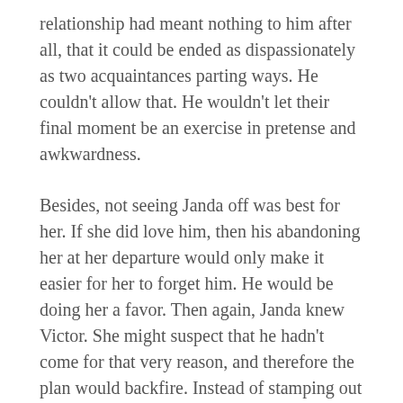relationship had meant nothing to him after all, that it could be ended as dispassionately as two acquaintances parting ways. He couldn't allow that. He wouldn't let their final moment be an exercise in pretense and awkwardness.
Besides, not seeing Janda off was best for her. If she did love him, then his abandoning her at her departure would only make it easier for her to forget him. He would be doing her a favor. Then again, Janda knew Victor. She might suspect that he hadn't come for that very reason, and therefore the plan would backfire. Instead of stamping out their love, it would only endear him more to her.